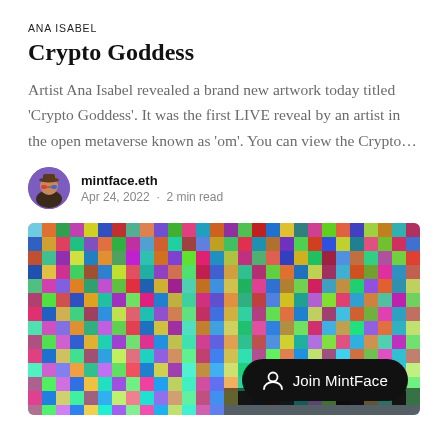ANA ISABEL
Crypto Goddess
Artist Ana Isabel revealed a brand new artwork today titled 'Crypto Goddess'. It was the first LIVE reveal by an artist in the open metaverse known as 'om'. You can view the Crypto…
mintface.eth
Apr 24, 2022 · 2 min read
[Figure (photo): A large grid/mosaic of colorful NFT avatar profile pictures, with a 'Join MintFace' button overlaid in the bottom right corner.]